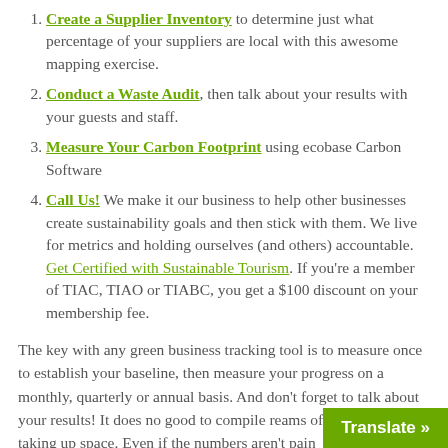Create a Supplier Inventory to determine just what percentage of your suppliers are local with this awesome mapping exercise.
Conduct a Waste Audit, then talk about your results with your guests and staff.
Measure Your Carbon Footprint using ecobase Carbon Software
Call Us! We make it our business to help other businesses create sustainability goals and then stick with them. We live for metrics and holding ourselves (and others) accountable. Get Certified with Sustainable Tourism. If you're a member of TIAC, TIAO or TIABC, you get a $100 discount on your membership fee.
The key with any green business tracking tool is to measure once to establish your baseline, then measure your progress on a monthly, quarterly or annual basis. And don't forget to talk about your results! It does no good to compile reams of data and ha taking up space. Even if the numbers aren't pain